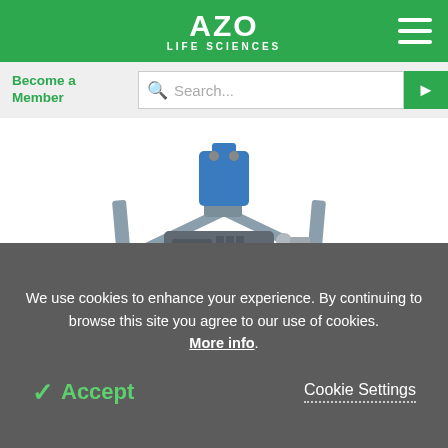AZO LIFE SCIENCES
Become a Member
Search...
[Figure (photo): Laboratory vacuum pump on a rolling grey metal cart/trolley with casters, motor visible, blue component at top]
Request A Quote
We use cookies to enhance your experience. By continuing to browse this site you agree to our use of cookies. More info.
✓ Accept
Cookie Settings